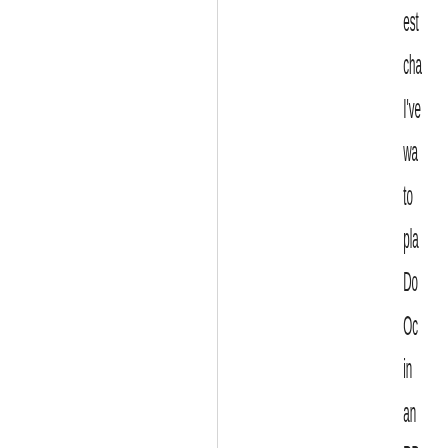est cha I've wa to pla Do Oc in an RP for a wh
Last edited by The Imperial Warglorian Empire on Mon Apr 11, 2022 6:49